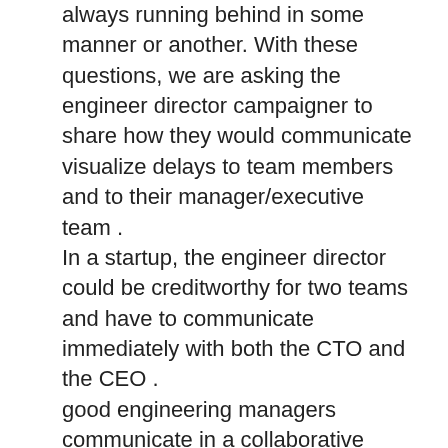always running behind in some manner or another. With these questions, we are asking the engineer director campaigner to share how they would communicate visualize delays to team members and to their manager/executive team . In a startup, the engineer director could be creditworthy for two teams and have to communicate immediately with both the CTO and the CEO . good engineering managers communicate in a collaborative manner. Great engineer managers use collaboration as an opportunity to introduce post-mortems at the end of a dash ( or the end of the project ) . When answering this interrogate, the campaigner should mention that they listen to ideas from the team in these meetings, in ordain to create action plans and minimize the risk of delays for future projects. Great engineering managers create an environment where